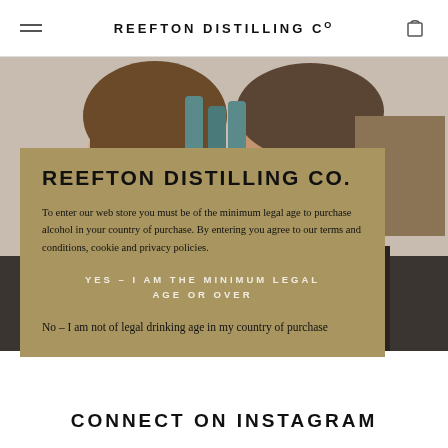REEFTON DISTILLING Co
[Figure (photo): Two smiling people (a woman and a man) behind a counter with teal/green bottles in the background]
REEFTON DISTILLING CO.
To enter our web store you must be of the minimum legal age to purchase alcohol in your country of purchase. By entering you agree to our terms and conditions, cookie and privacy policies.
YES – I AM THE MINIMUM LEGAL AGE OR OVER
No – I am not of legal drinking age in my country of purchase
CONNECT ON INSTAGRAM